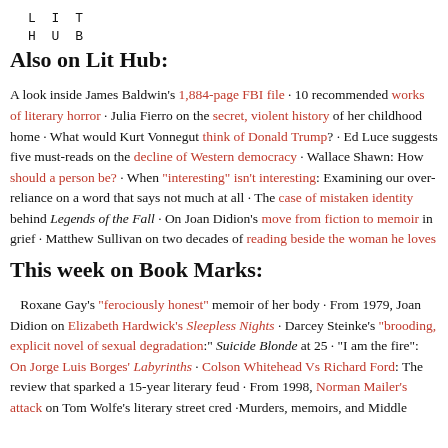LIT HUB
Also on Lit Hub:
A look inside James Baldwin's 1,884-page FBI file · 10 recommended works of literary horror · Julia Fierro on the secret, violent history of her childhood home · What would Kurt Vonnegut think of Donald Trump? · Ed Luce suggests five must-reads on the decline of Western democracy · Wallace Shawn: How should a person be? · When “interesting” isn’t interesting: Examining our over-reliance on a word that says not much at all · The case of mistaken identity behind Legends of the Fall · On Joan Didion’s move from fiction to memoir in grief · Matthew Sullivan on two decades of reading beside the woman he loves
This week on Book Marks:
Roxane Gay’s “ferociously honest” memoir of her body · From 1979, Joan Didion on Elizabeth Hardwick’s Sleepless Nights · Darcey Steinke’s “brooding, explicit novel of sexual degradation:” Suicide Blonde at 25 · “I am the fire”: On Jorge Luis Borges’ Labyrinths · Colson Whitehead Vs Richard Ford: The review that sparked a 15-year literary feud · From 1998, Norman Mailer’s attack on Tom Wolfe’s literary street cred ·Murders, memoirs, and Middle